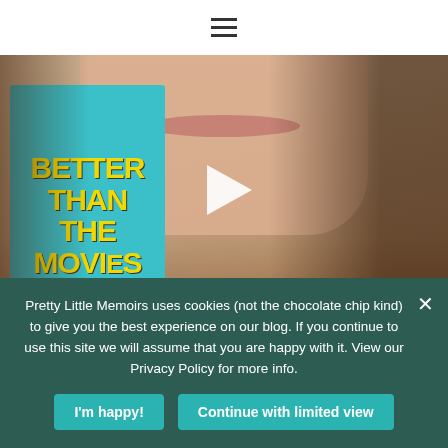≡
[Figure (photo): Video thumbnail showing a person holding a book titled 'Better Than the Movies' with a play button overlay. The book has a teal/cyan cover with yellow text and illustrated characters.]
Pretty Little Memoirs uses cookies (not the chocolate chip kind) to give you the best experience on our blog. If you continue to use this site we will assume that you are happy with it. View our Privacy Policy for more info.
I'm happy!
Continue with limited view